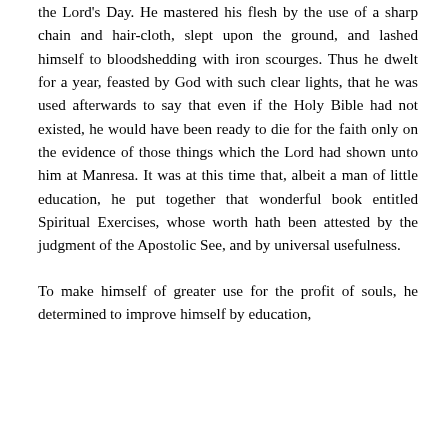the Lord's Day. He mastered his flesh by the use of a sharp chain and hair-cloth, slept upon the ground, and lashed himself to bloodshedding with iron scourges. Thus he dwelt for a year, feasted by God with such clear lights, that he was used afterwards to say that even if the Holy Bible had not existed, he would have been ready to die for the faith only on the evidence of those things which the Lord had shown unto him at Manresa. It was at this time that, albeit a man of little education, he put together that wonderful book entitled Spiritual Exercises, whose worth hath been attested by the judgment of the Apostolic See, and by universal usefulness.
To make himself of greater use for the profit of souls, he determined to improve himself by education,